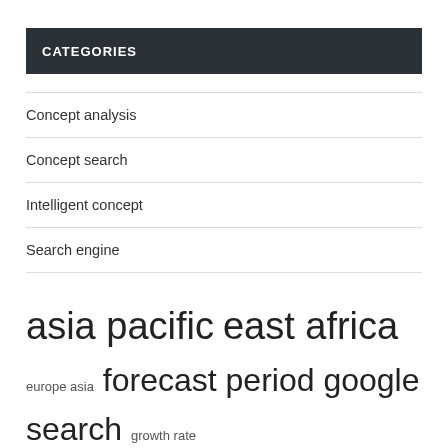CATEGORIES
Concept analysis
Concept search
Intelligent concept
Search engine
asia pacific  east africa  europe asia  forecast period  google search  growth rate  major players  market players  market report  market research  market share  market size  middle east